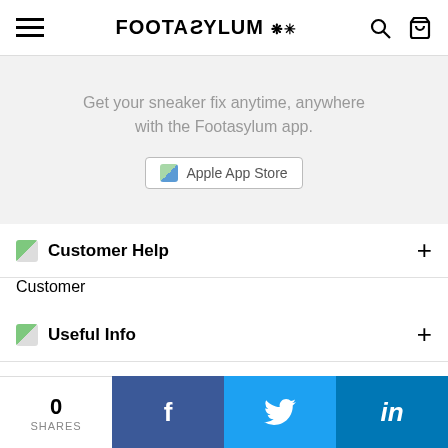Footasylum header with hamburger menu, logo FOOTASYLUM, search and bag icons
Get your sneaker fix anytime, anywhere with the Footasylum app.
[Figure (screenshot): Apple App Store button with green apple icon]
Customer Help +
Customer
Useful Info +
Welcome! We noticed you are visiting us from United States. Your currency has been updated to USD.
0 SHARES | Facebook | Twitter | LinkedIn share bar